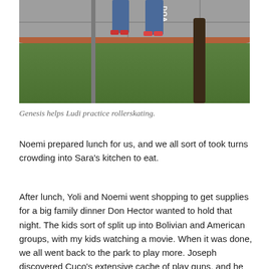[Figure (photo): Outdoor photo showing two people's legs on roller skates on a sidewalk/pavement, with a metal pole with graffiti, a tree trunk, grass, and a curved brick curb in a park setting.]
Genesis helps Ludi practice rollerskating.
Noemi prepared lunch for us, and we all sort of took turns crowding into Sara's kitchen to eat.
After lunch, Yoli and Noemi went shopping to get supplies for a big family dinner Don Hector wanted to hold that night. The kids sort of split up into Bolivian and American groups, with my kids watching a movie. When it was done, we all went back to the park to play more. Joseph discovered Cuco's extensive cache of play guns, and he took one to the park. He had a delightful time